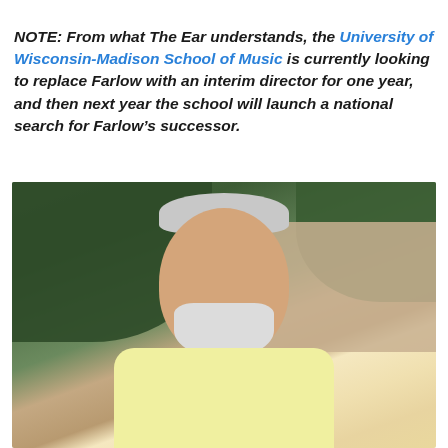NOTE: From what The Ear understands, the University of Wisconsin-Madison School of Music is currently looking to replace Farlow with an interim director for one year, and then next year the school will launch a national search for Farlow’s successor.
[Figure (photo): Portrait photo of a middle-aged man with white/grey hair and a white beard, smiling, wearing a yellow polo shirt, standing outdoors in front of green leafy bushes and a light-colored stone or stucco wall]